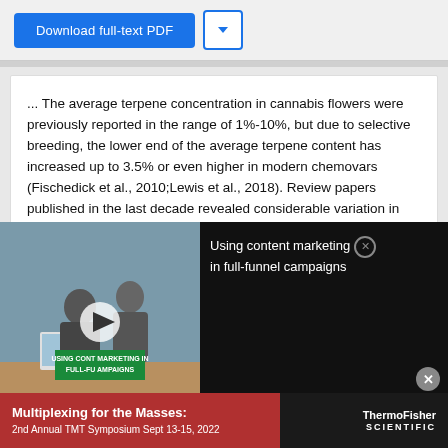Download full-text PDF
... The average terpene concentration in cannabis flowers were previously reported in the range of 1%-10%, but due to selective breeding, the lower end of the average terpene content has increased up to 3.5% or even higher in modern chemovars (Fischedick et al., 2010;Lewis et al., 2018). Review papers published in the last decade revealed considerable variation in the
[Figure (screenshot): Video thumbnail showing people working at a desk with overlay text 'Using content marketing in full-funnel campaigns' and a play button]
other plant materials, but the terpene profile of cannabis inflorescence tends to be more complex. ...
Advertisement
[Figure (photo): ThermoFisher Scientific advertisement banner: Multiplexing for the Masses: 2nd Annual TMT Symposium Sept 13-15, 2022]